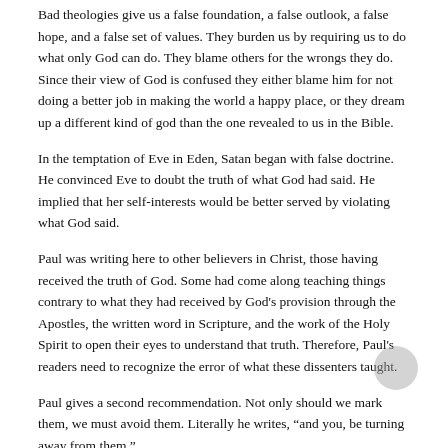Bad theologies give us a false foundation, a false outlook, a false hope, and a false set of values. They burden us by requiring us to do what only God can do. They blame others for the wrongs they do. Since their view of God is confused they either blame him for not doing a better job in making the world a happy place, or they dream up a different kind of god than the one revealed to us in the Bible.
In the temptation of Eve in Eden, Satan began with false doctrine. He convinced Eve to doubt the truth of what God had said. He implied that her self-interests would be better served by violating what God said.
Paul was writing here to other believers in Christ, those having received the truth of God. Some had come along teaching things contrary to what they had received by God's provision through the Apostles, the written word in Scripture, and the work of the Holy Spirit to open their eyes to understand that truth. Therefore, Paul's readers need to recognize the error of what these dissenters taught.
Paul gives a second recommendation. Not only should we mark them, we must avoid them. Literally he writes, “and you, be turning away from them.”
We need to avoided their teachings like the plague. If we know someone has a highly contagious disease, we are very careful to stay away. We keep our children and loved ones away from them at all costs. Infected people are often isolated. The things they touch are sterilized. People wear masks around them in the hospitals. Exposure to one contagion can infect you and cause a lot of suffering, even death.
Therefore if they do not agree to what the Apostles and those for whom which they speak...